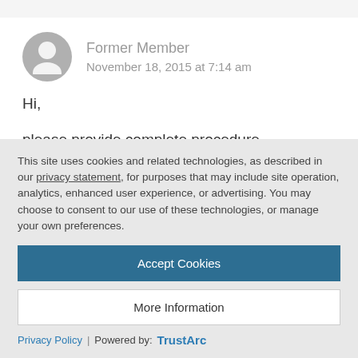Former Member
November 18, 2015 at 7:14 am
Hi,

please provide complete procedure

BR/ Prabodh
This site uses cookies and related technologies, as described in our privacy statement, for purposes that may include site operation, analytics, enhanced user experience, or advertising. You may choose to consent to our use of these technologies, or manage your own preferences.
Accept Cookies
More Information
Privacy Policy | Powered by: TrustArc